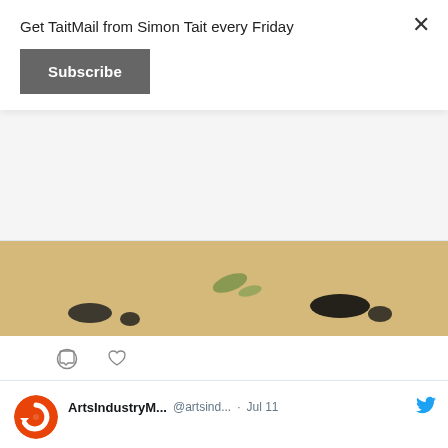Get TaitMail from Simon Tait every Friday
Subscribe
[Figure (screenshot): Partial top image from a previous tweet showing a tan/beige background with dark ink brush-stroke marks]
[Figure (screenshot): Tweet by ArtsIndustryM... @artsind... Jul 11: Brett Rogers to leave Photographers' Gallery @TPGallery artsindustry.co.uk/news/2897-bret... with photo of a blonde woman wearing glasses, smiling, in a red top]
ArtsIndustryM... @artsind... · Jul 11
Brett Rogers to leave Photographers' Gallery @TPGallery artsindustry.co.uk/news/2897-bret...